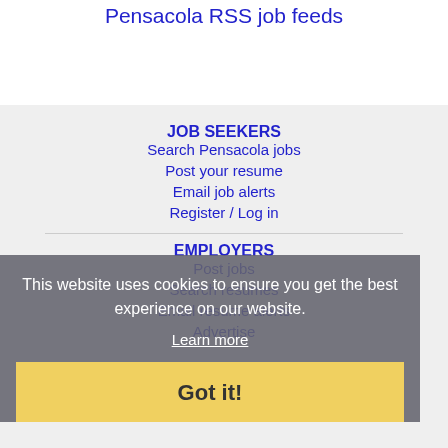Pensacola RSS job feeds
JOB SEEKERS
Search Pensacola jobs
Post your resume
Email job alerts
Register / Log in
EMPLOYERS
Post jobs
Search resumes
Email resume alerts
Advertise
This website uses cookies to ensure you get the best experience on our website.
Learn more
Got it!